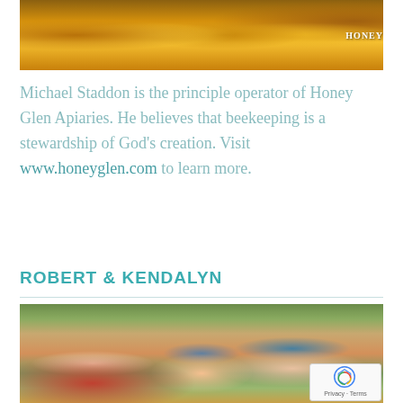[Figure (photo): Photo of honey jars with golden honey, labeled HONEY]
Michael Staddon is the principle operator of Honey Glen Apiaries. He believes that beekeeping is a stewardship of God’s creation. Visit www.honeyglen.com to learn more.
ROBERT & KENDALYN
[Figure (photo): Family photo of a man, woman, and two young girls posing outdoors among autumn leaves]